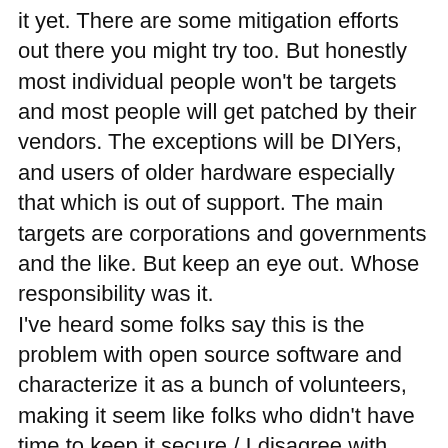it yet. There are some mitigation efforts out there you might try too. But honestly most individual people won't be targets and most people will get patched by their vendors. The exceptions will be DIYers, and users of older hardware especially that which is out of support. The main targets are corporations and governments and the like. But keep an eye out. Whose responsibility was it. I've heard some folks say this is the problem with open source software and characterize it as a bunch of volunteers, making it seem like folks who didn't have time to keep it secure./ I disagree with that characterization. Developers can't foresee every consequence of use and Log4j has been around for decades without anybody figuring out this vulnerability. Also log4j is part of the Apache Software Foundation which is a nonprofit 501(c)(3) corporation that has been in operation for 20 years with at least 1000...